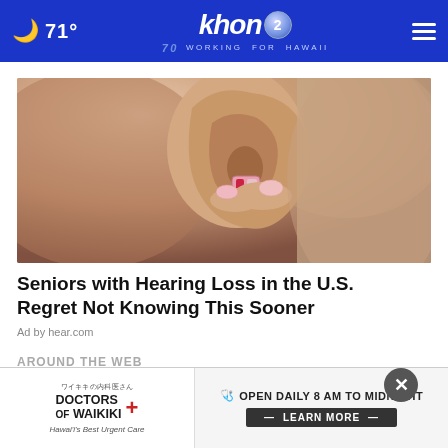🌙 71°  khon2  WORKING FOR HAWAII  70 YEARS
[Figure (photo): Close-up photo of a person inserting a small hearing aid into their ear, with painted nails visible]
Seniors with Hearing Loss in the U.S. Regret Not Knowing This Sooner
Ad by hear.com
AROUND THE WEB
[Figure (other): Doctors of Waikiki advertisement banner: OPEN DAILY 8 AM TO MIDNIGHT - LEARN MORE]